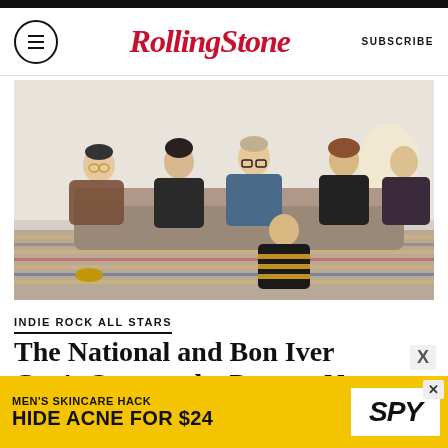RollingStone | SUBSCRIBE
[Figure (photo): Five members of The National seated and posed in a hotel room or living room setting, on and around a couch, on a striped rug. The men are wearing casual clothing; one wears a beanie and yellow-tinted glasses, one in the center wears glasses and a denim jacket, and one sits on the floor in a striped sweater.]
INDIE ROCK ALL STARS
The National and Bon Iver Can't Outrun the Past on New Song 'Weird
[Figure (infographic): Advertisement banner: MEN'S SKINCARE HACK HIDE ACNE FOR $24, with SPY logo on yellow background]